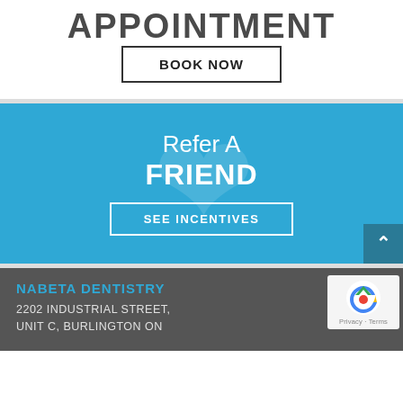APPOINTMENT
BOOK NOW
Refer A FRIEND
SEE INCENTIVES
NABETA DENTISTRY
2202 INDUSTRIAL STREET, UNIT C, BURLINGTON ON